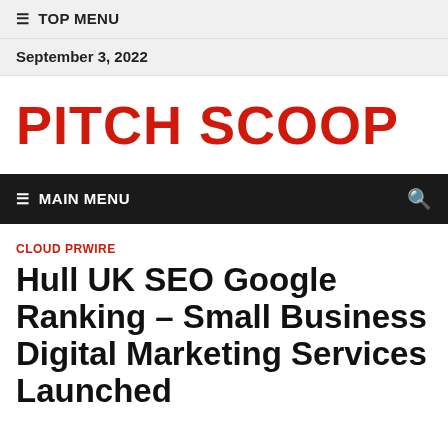≡ TOP MENU
September 3, 2022
PITCH SCOOP
≡ MAIN MENU
CLOUD PRWIRE
Hull UK SEO Google Ranking – Small Business Digital Marketing Services Launched